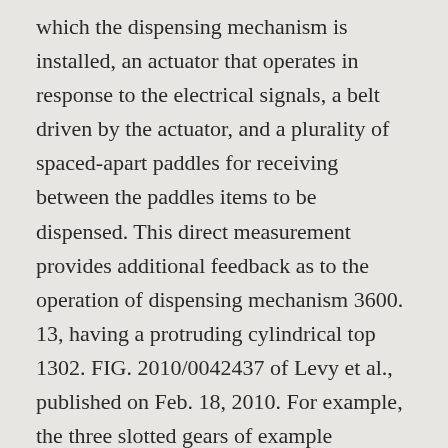which the dispensing mechanism is installed, an actuator that operates in response to the electrical signals, a belt driven by the actuator, and a plurality of spaced-apart paddles for receiving between the paddles items to be dispensed. This direct measurement provides additional feedback as to the operation of dispensing mechanism 3600. 13, having a protruding cylindrical top 1302. FIG. 2010/0042437 of Levy et al., published on Feb. 18, 2010. For example, the three slotted gears of example dispenser 1201 are meshed in such a way that one of the T-shaped slots reaches the upward vertical orientation for every 120 degrees of rotation of central slotted gear 1701. The next of the page continues below...